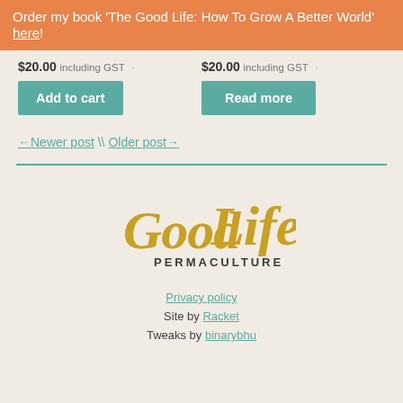Order my book 'The Good Life: How To Grow A Better World' here!
$20.00 including GST · $20.00 including GST ·
Add to cart | Read more
← Newer post \ Older post→
[Figure (logo): Good Life Permaculture logo in yellow/gold script with PERMACULTURE in dark letters below]
Privacy policy
Site by Racket
Tweaks by binarybhu